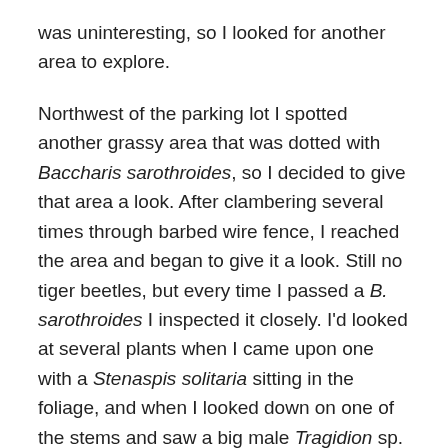was uninteresting, so I looked for another area to explore.
Northwest of the parking lot I spotted another grassy area that was dotted with Baccharis sarothroides, so I decided to give that area a look. After clambering several times through barbed wire fence, I reached the area and began to give it a look. Still no tiger beetles, but every time I passed a B. sarothroides I inspected it closely. I'd looked at several plants when I came upon one with a Stenaspis solitaria sitting in the foliage, and when I looked down on one of the stems and saw a big male Tragidion sp. on the underside of the stem. After securing it, I looked closer at the plant and saw a pair of annulated antennae crawling up another stem – I knew right away it was a mating pair of Stenaspis verticalis! After carefully